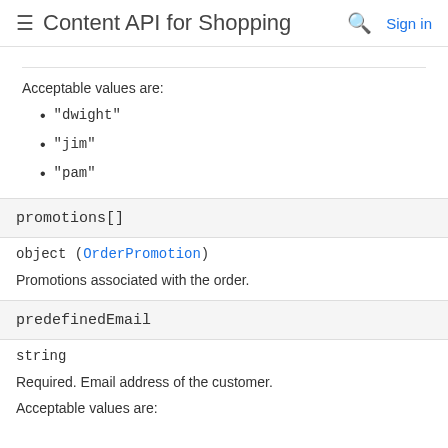Content API for Shopping
Acceptable values are:
"dwight"
"jim"
"pam"
promotions[]
object (OrderPromotion)
Promotions associated with the order.
predefinedEmail
string
Required. Email address of the customer.
Acceptable values are: